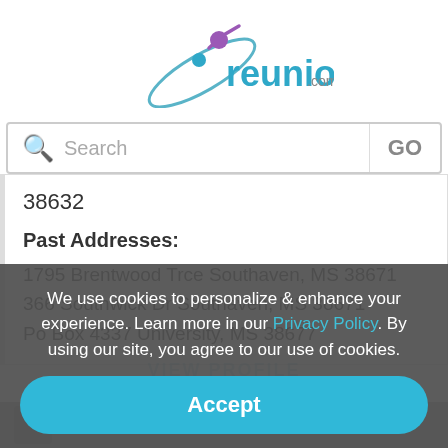[Figure (logo): reunion.com logo with teal text and purple/teal figure icon]
Search GO
38632
Past Addresses:
1795 Brentwood Trce Southaven, MS 38671
366 Southwick Dr Southaven, MS 38671
Po Box 4337 University, MS 38677
We use cookies to personalize & enhance your experience. Learn more in our Privacy Policy. By using our site, you agree to our use of cookies.
Accept